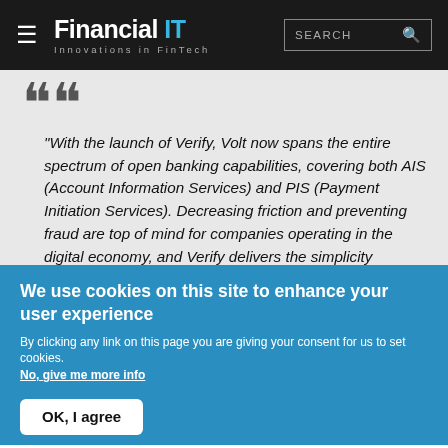Financial IT — Innovations in FinTech
"With the launch of Verify, Volt now spans the entire spectrum of open banking capabilities, covering both AIS (Account Information Services) and PIS (Payment Initiation Services). Decreasing friction and preventing fraud are top of mind for companies operating in the digital economy, and Verify delivers the simplicity customers want, the security both them and merchants
We use cookies on this site to enhance your user experience
By clicking any link on this page you are giving your consent for us to set cookies.
No, give me more info
OK, I agree